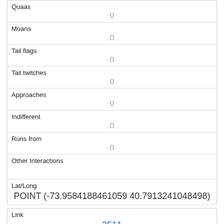| Quaas | 0 |
| Moans | 0 |
| Tail flags | 0 |
| Tail twitches | 0 |
| Approaches | 0 |
| Indifferent | 0 |
| Runs from | 0 |
| Other Interactions |  |
| Lat/Long | POINT (-73.9584188461059 40.7913241048498) |
| Link | 2511 |